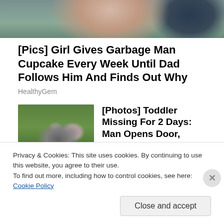[Figure (photo): Cropped top portion of a photo showing two people outdoors]
[Pics] Girl Gives Garbage Man Cupcake Every Week Until Dad Follows Him And Finds Out Why
HealthyGem
[Figure (photo): Pitbull dog standing on grass]
[Photos] Toddler Missing For 2 Days: Man Opens Door, Realizes Pitbull Had Her
12Up
[Figure (photo): Partial thumbnail image for Forbes article]
Forbes Announces The Best
Privacy & Cookies: This site uses cookies. By continuing to use this website, you agree to their use.
To find out more, including how to control cookies, see here: Cookie Policy